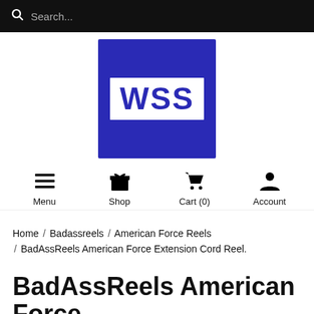Search...
[Figure (logo): WSS logo — white box with blue WSS lettering on a dark blue square background]
Menu  Shop  Cart (0)  Account
Home / Badassreels / American Force Reels / BadAssReels American Force Extension Cord Reel.
BadAssReels American Force